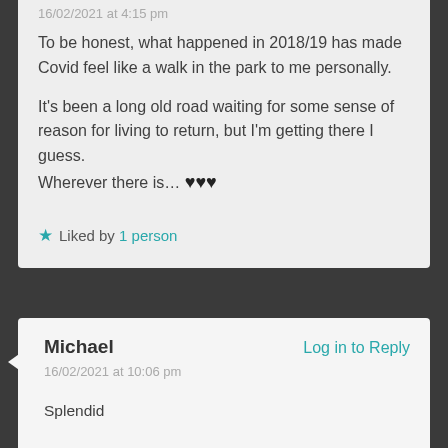16/02/2021 at 4:15 pm
To be honest, what happened in 2018/19 has made Covid feel like a walk in the park to me personally.

It's been a long old road waiting for some sense of reason for living to return, but I'm getting there I guess.
Wherever there is… ♥♥♥
★ Liked by 1 person
Michael
Log in to Reply
16/02/2021 at 10:06 pm
Splendid

..

Just watch out for those walks in the park though… keep you're distance, wear a mask,